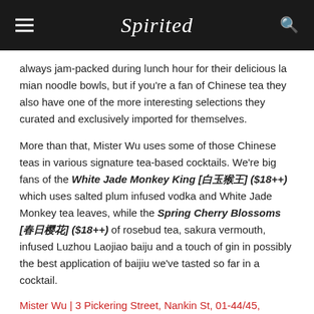Spirited
always jam-packed during lunch hour for their delicious la mian noodle bowls, but if you're a fan of Chinese tea they also have one of the more interesting selections they curated and exclusively imported for themselves.
More than that, Mister Wu uses some of those Chinese teas in various signature tea-based cocktails. We're big fans of the White Jade Monkey King [白玉猴王] ($18++) which uses salted plum infused vodka and White Jade Monkey tea leaves, while the Spring Cherry Blossoms [春日樱花] ($18++) of rosebud tea, sakura vermouth, infused Luzhou Laojiao baiju and a touch of gin in possibly the best application of baijiu we've tasted so far in a cocktail.
Mister Wu | 3 Pickering Street, Nankin St, 01-44/45, Singapore 048660 | 11.30am to 2.30pm and 6pm to 10pm